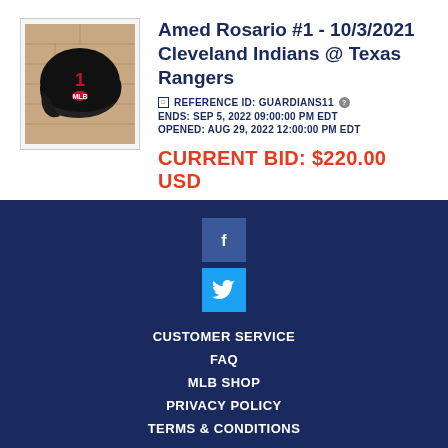[Figure (photo): Photo of a black MLB batting helmet with number 1, inside a bordered box]
Amed Rosario #1 - 10/3/2021 Cleveland Indians @ Texas Rangers
REFERENCE ID: GUARDIANS11
ENDS: SEP 5, 2022 09:00:00 PM EDT
OPENED: AUG 29, 2022 12:00:00 PM EDT
CURRENT BID: $220.00 USD
CUSTOMER SERVICE
FAQ
MLB SHOP
PRIVACY POLICY
TERMS & CONDITIONS
©2022 MLB ADVANCED MEDIA, L.P. ALL RIGHTS RESERVED